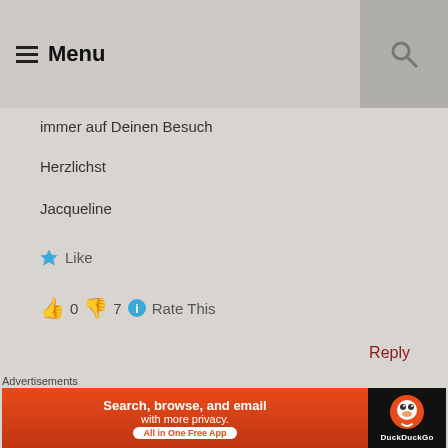Menu
immer auf Deinen Besuch
Herzlichst
Jacqueline
Like
0  7  Rate This
Reply
MAGDALENA36
September 25, 2011 at 9:51 am
Hi Jacqueline,
Advertisements
[Figure (other): DuckDuckGo advertisement banner: Search, browse, and email with more privacy. All in One Free App.]